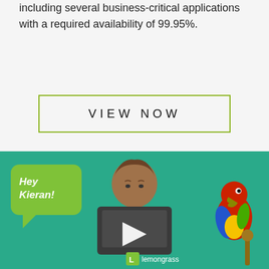including several business-critical applications with a required availability of 99.95%.
VIEW NOW
[Figure (illustration): Animated illustration showing a cartoon person behind a dark laptop/phone, with a green speech bubble saying 'Hey Kieran!', a white play button in the center, a colorful parrot on the right, and the Lemongrass logo at the bottom, all on a teal/green background.]